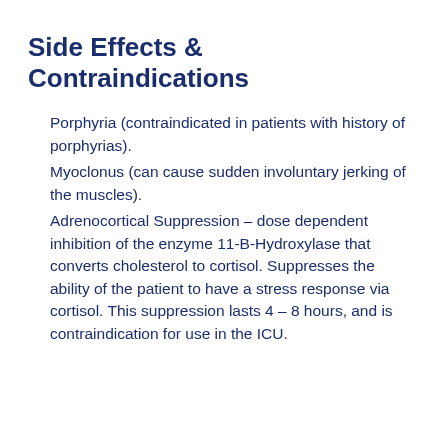Side Effects & Contraindications
Porphyria (contraindicated in patients with history of porphyrias).
Myoclonus (can cause sudden involuntary jerking of the muscles).
Adrenocortical Suppression – dose dependent inhibition of the enzyme 11-B-Hydroxylase that converts cholesterol to cortisol. Suppresses the ability of the patient to have a stress response via cortisol. This suppression lasts 4 – 8 hours, and is contraindication for use in the ICU.